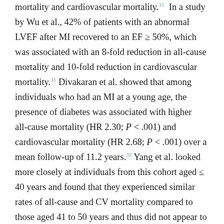mortality and cardiovascular mortality.31 In a study by Wu et al., 42% of patients with an abnormal LVEF after MI recovered to an EF ≥ 50%, which was associated with an 8-fold reduction in all-cause mortality and 10-fold reduction in cardiovascular mortality.31 Divakaran et al. showed that among individuals who had an MI at a young age, the presence of diabetes was associated with higher all-cause mortality (HR 2.30; P < .001) and cardiovascular mortality (HR 2.68; P < .001) over a mean follow-up of 11.2 years.32 Yang et al. looked more closely at individuals from this cohort aged ≤ 40 years and found that they experienced similar rates of all-cause and CV mortality compared to those aged 41 to 50 years and thus did not appear to be protected by an average age difference of 10 years.33